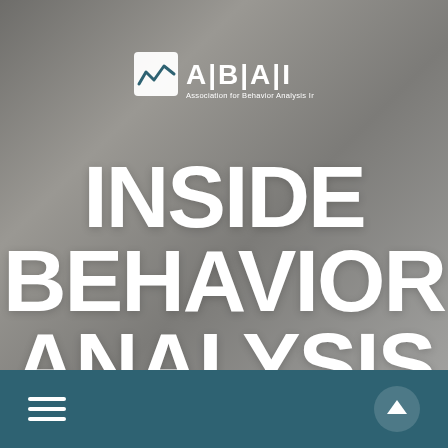[Figure (photo): Grayscale/sepia-toned close-up photo of stacked books or printed materials with fabric texture, showing partial text 'mo' in large letters on the cover. Serves as background for the page.]
[Figure (logo): ABAI logo: Association for Behavior Analysis International. White logo with stylized graph icon on the left and 'A|B|A|I' text with full name below.]
INSIDE BEHAVIOR ANALYSIS
[Figure (other): Dark teal navigation bar at the bottom with a white hamburger menu icon on the left and a white upward-pointing chevron/arrow in a circle on the right.]